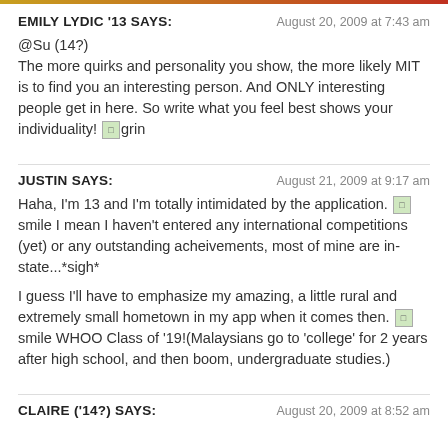EMILY LYDIC '13 SAYS: | August 20, 2009 at 7:43 am
@Su (14?)
The more quirks and personality you show, the more likely MIT is to find you an interesting person. And ONLY interesting people get in here. So write what you feel best shows your individuality! [grin]
JUSTIN SAYS: | August 21, 2009 at 9:17 am
Haha, I'm 13 and I'm totally intimidated by the application. [smile] I mean I haven't entered any international competitions (yet) or any outstanding acheivements, most of mine are in-state...*sigh*

I guess I'll have to emphasize my amazing, a little rural and extremely small hometown in my app when it comes then. [smile] WHOO Class of '19!(Malaysians go to 'college' for 2 years after high school, and then boom, undergraduate studies.)
CLAIRE ('14?) SAYS: | August 20, 2009 at 8:52 am